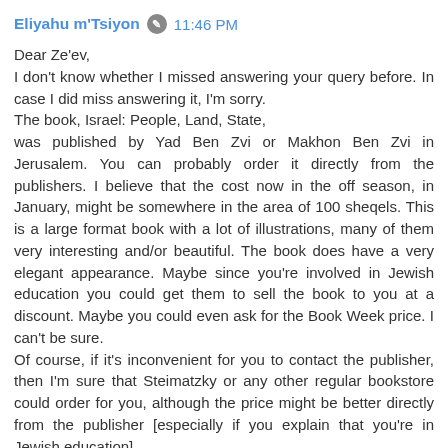Eliyahu m'Tsiyon  11:46 PM
Dear Ze'ev,
I don't know whether I missed answering your query before. In case I did miss answering it, I'm sorry.
The book, Israel: People, Land, State,
was published by Yad Ben Zvi or Makhon Ben Zvi in Jerusalem. You can probably order it directly from the publishers. I believe that the cost now in the off season, in January, might be somewhere in the area of 100 sheqels. This is a large format book with a lot of illustrations, many of them very interesting and/or beautiful. The book does have a very elegant appearance. Maybe since you're involved in Jewish education you could get them to sell the book to you at a discount. Maybe you could even ask for the Book Week price. I can't be sure.
Of course, if it's inconvenient for you to contact the publisher, then I'm sure that Steimatzky or any other regular bookstore could order for you, although the price might be better directly from the publisher [especially if you explain that you're in Jewish education].
I hope this helps.
Eliyahu